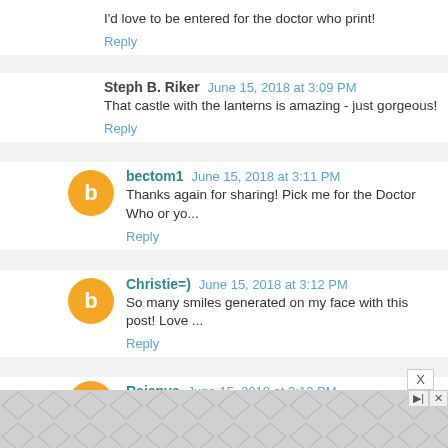I'd love to be entered for the doctor who print!
Reply
Steph B. Riker  June 15, 2018 at 3:09 PM
That castle with the lanterns is amazing - just gorgeous!
Reply
bectom1  June 15, 2018 at 3:11 PM
Thanks again for sharing! Pick me for the Doctor Who or yo...
Reply
Christie=)  June 15, 2018 at 3:12 PM
So many smiles generated on my face with this post! Love ...
Reply
Raienya  June 15, 2018 at 3:13 PM
[Figure (other): Ad banner with geometric diamond pattern at bottom of page]